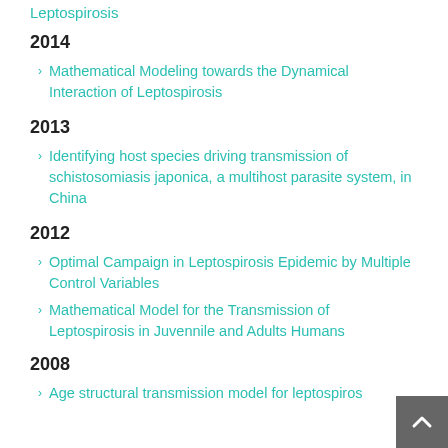Leptospirosis
2014
Mathematical Modeling towards the Dynamical Interaction of Leptospirosis
2013
Identifying host species driving transmission of schistosomiasis japonica, a multihost parasite system, in China
2012
Optimal Campaign in Leptospirosis Epidemic by Multiple Control Variables
Mathematical Model for the Transmission of Leptospirosis in Juvennile and Adults Humans
2008
Age structural transmission model for leptospiros